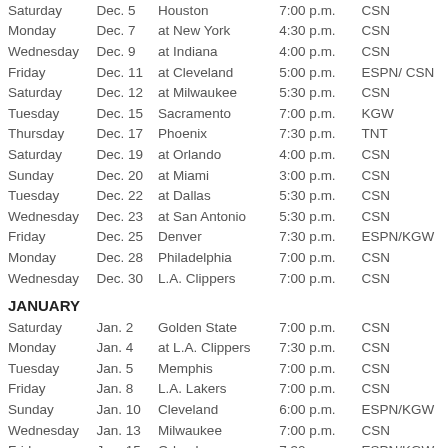| Day | Date | Opponent | Time | Network |
| --- | --- | --- | --- | --- |
| Saturday | Dec. 5 | Houston | 7:00 p.m. | CSN |
| Monday | Dec. 7 | at New York | 4:30 p.m. | CSN |
| Wednesday | Dec. 9 | at Indiana | 4:00 p.m. | CSN |
| Friday | Dec. 11 | at Cleveland | 5:00 p.m. | ESPN/ CSN |
| Saturday | Dec. 12 | at Milwaukee | 5:30 p.m. | CSN |
| Tuesday | Dec. 15 | Sacramento | 7:00 p.m. | KGW |
| Thursday | Dec. 17 | Phoenix | 7:30 p.m. | TNT |
| Saturday | Dec. 19 | at Orlando | 4:00 p.m. | CSN |
| Sunday | Dec. 20 | at Miami | 3:00 p.m. | CSN |
| Tuesday | Dec. 22 | at Dallas | 5:30 p.m. | CSN |
| Wednesday | Dec. 23 | at San Antonio | 5:30 p.m. | CSN |
| Friday | Dec. 25 | Denver | 7:30 p.m. | ESPN/KGW |
| Monday | Dec. 28 | Philadelphia | 7:00 p.m. | CSN |
| Wednesday | Dec. 30 | L.A. Clippers | 7:00 p.m. | CSN |
| JANUARY |  |  |  |  |
| Saturday | Jan. 2 | Golden State | 7:00 p.m. | CSN |
| Monday | Jan. 4 | at L.A. Clippers | 7:30 p.m. | CSN |
| Tuesday | Jan. 5 | Memphis | 7:00 p.m. | CSN |
| Friday | Jan. 8 | L.A. Lakers | 7:00 p.m. | CSN |
| Sunday | Jan. 10 | Cleveland | 6:00 p.m. | ESPN/KGW |
| Wednesday | Jan. 13 | Milwaukee | 7:00 p.m. | CSN |
| Friday | Jan. 15 | Orlando | 7:30 p.m. | ESPN/KGW |